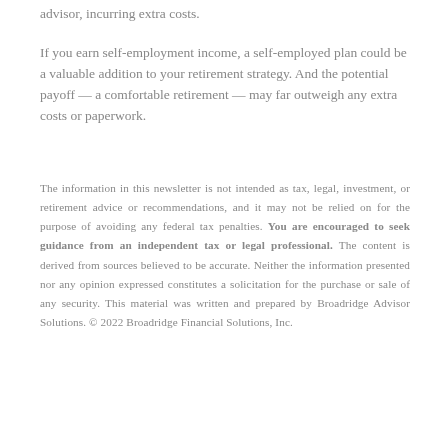advisor, incurring extra costs.
If you earn self-employment income, a self-employed plan could be a valuable addition to your retirement strategy. And the potential payoff — a comfortable retirement — may far outweigh any extra costs or paperwork.
The information in this newsletter is not intended as tax, legal, investment, or retirement advice or recommendations, and it may not be relied on for the purpose of avoiding any federal tax penalties. You are encouraged to seek guidance from an independent tax or legal professional. The content is derived from sources believed to be accurate. Neither the information presented nor any opinion expressed constitutes a solicitation for the purchase or sale of any security. This material was written and prepared by Broadridge Advisor Solutions. © 2022 Broadridge Financial Solutions, Inc.